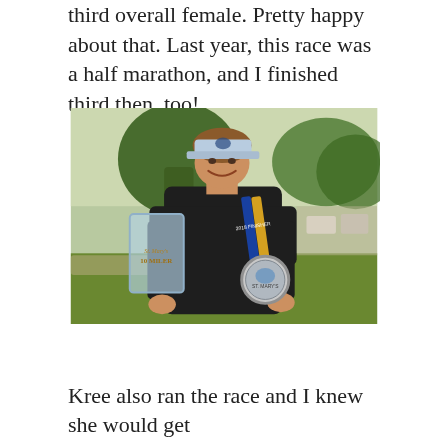third overall female. Pretty happy about that. Last year, this race was a half marathon, and I finished third then, too!
[Figure (photo): Woman smiling outdoors holding a trophy (St. Mary's 10 Miler) and a finisher medal with blue and gold ribbon, wearing a blue visor and dark jacket. Trees and parking area visible in background.]
Kree also ran the race and I knew she would get